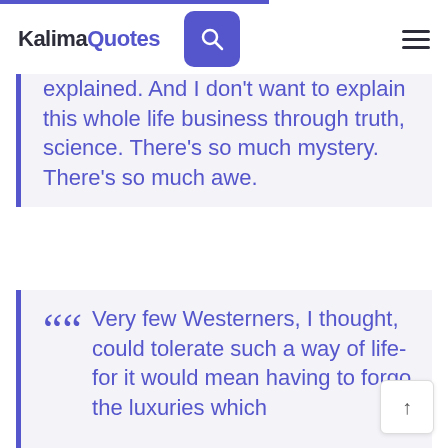KalimaQuotes
explained. And I don't want to explain this whole life business through truth, science. There's so much mystery. There's so much awe.
Very few Westerners, I thought, could tolerate such a way of life- for it would mean having to forgo the luxuries which